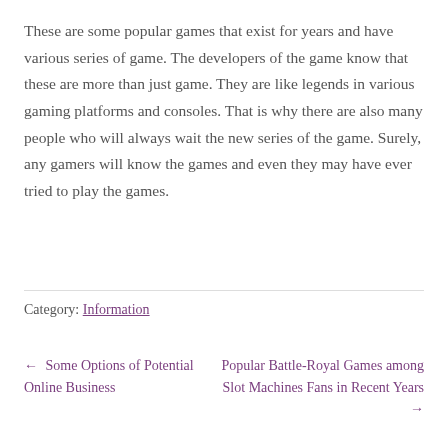These are some popular games that exist for years and have various series of game. The developers of the game know that these are more than just game. They are like legends in various gaming platforms and consoles. That is why there are also many people who will always wait the new series of the game. Surely, any gamers will know the games and even they may have ever tried to play the games.
Category: Information
← Some Options of Potential Online Business | Popular Battle-Royal Games among Slot Machines Fans in Recent Years →